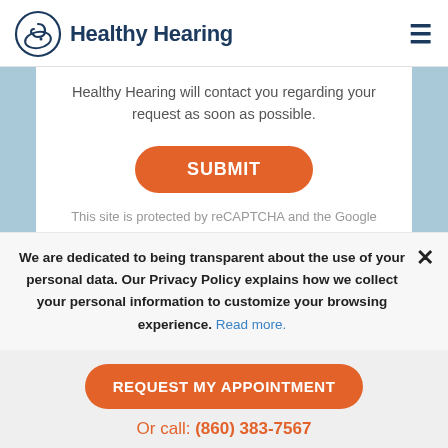Healthy Hearing
Healthy Hearing will contact you regarding your request as soon as possible.
SUBMIT
This site is protected by reCAPTCHA and the Google
We are dedicated to being transparent about the use of your personal data. Our Privacy Policy explains how we collect your personal information to customize your browsing experience. Read more.
REQUEST MY APPOINTMENT
Or call: (860) 383-7567